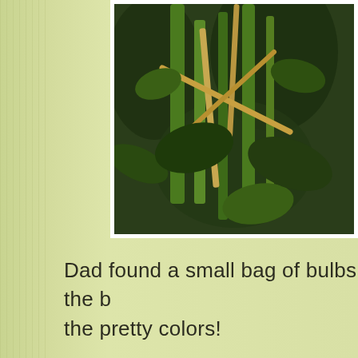[Figure (photo): Photo of green plant stems and leaves, close-up view of garden plants with tall green and tan/dry stalks]
Dad found a small bag of bulbs  in the b the pretty colors!
[Figure (photo): Photo of potted green plants on wooden shelving/table outdoors, with a large dark green and red leaf in the foreground]